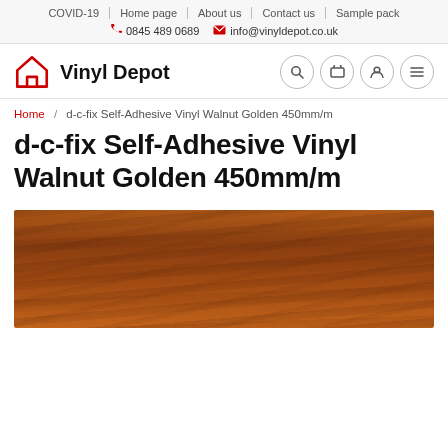COVID-19 | Home page | About us | Contact us | Sample pack | 0845 489 0689 | info@vinyldepot.co.uk
[Figure (logo): Vinyl Depot logo: red house outline icon and bold text 'Vinyl Depot', with search, cart, user and menu icon buttons on the right]
Home / d-c-fix Self-Adhesive Vinyl Walnut Golden 450mm/m
d-c-fix Self-Adhesive Vinyl Walnut Golden 450mm/m
[Figure (photo): Close-up photo of golden walnut wood grain vinyl texture in warm brown tones]